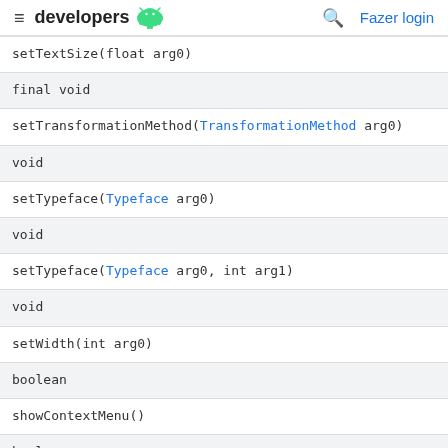≡ developers 🤖  🔍 Fazer login
| setTextSize(float arg0) |
| final void |
| setTransformationMethod(TransformationMethod arg0) |
| void |
| setTypeface(Typeface arg0) |
| void |
| setTypeface(Typeface arg0, int arg1) |
| void |
| setWidth(int arg0) |
| boolean |
| showContextMenu() |
| boolean |
| showContextMenu(float arg0, float arg1) |